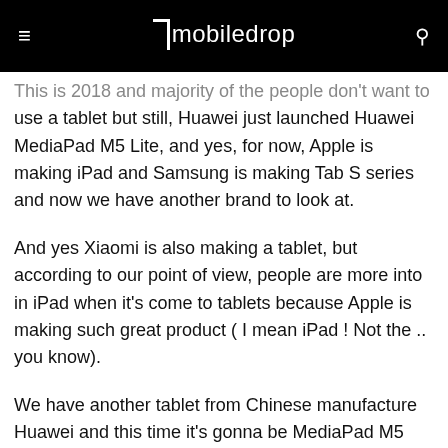mobiledrop
This is 2018 and majority of the people don't want to use a tablet but still, Huawei just launched Huawei MediaPad M5 Lite, and yes, for now, Apple is making iPad and Samsung is making Tab S series and now we have another brand to look at.
And yes Xiaomi is also making a tablet, but according to our point of view, people are more into in iPad when it's come to tablets because Apple is making such great product ( I mean iPad ! Not the .. you know).
We have another tablet from Chinese manufacture Huawei and this time it's gonna be MediaPad M5 Lite. We also saw MediaPad M5 and  MediaPad M5 Pro but let's see how good is Huawei MediaPad M5 Lite.